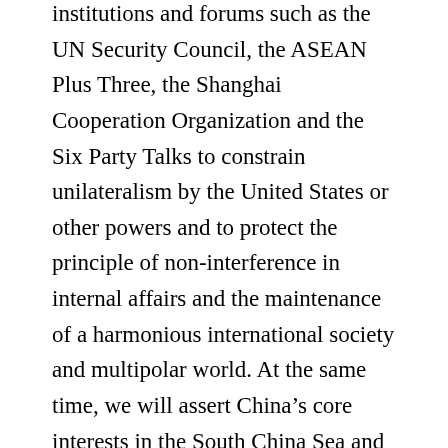institutions and forums such as the UN Security Council, the ASEAN Plus Three, the Shanghai Cooperation Organization and the Six Party Talks to constrain unilateralism by the United States or other powers and to protect the principle of non-interference in internal affairs and the maintenance of a harmonious international society and multipolar world. At the same time, we will assert China’s core interests in the South China Sea and other proximate areas consistent with our growing relative strength.
The Most Critical Relationship: America
As President Hu Jintao declared to the gathering